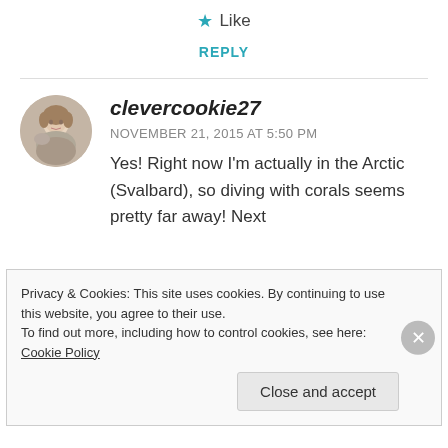★ Like
REPLY
[Figure (photo): Circular avatar photo of a woman wearing a grey scarf]
clevercookie27
NOVEMBER 21, 2015 AT 5:50 PM
Yes! Right now I'm actually in the Arctic (Svalbard), so diving with corals seems pretty far away! Next
Privacy & Cookies: This site uses cookies. By continuing to use this website, you agree to their use.
To find out more, including how to control cookies, see here: Cookie Policy
Close and accept